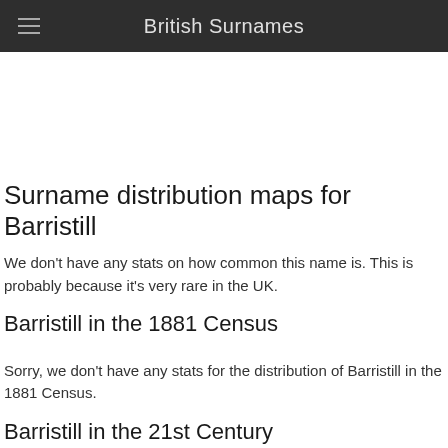British Surnames
Surname distribution maps for Barristill
We don't have any stats on how common this name is. This is probably because it's very rare in the UK.
Barristill in the 1881 Census
Sorry, we don't have any stats for the distribution of Barristill in the 1881 Census.
Barristill in the 21st Century
Sorry, we don't have any stats for the distribution of Barristill in